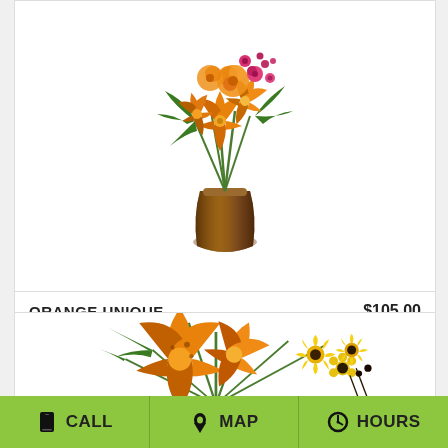[Figure (photo): Orange floral arrangement with lilies, roses, and pink flowers in a brown amber vase]
ORANGE UNIQUE
$105.00
BUY NOW
[Figure (illustration): Info icon - dark circle with white i]
[Figure (photo): Orange lily and yellow daisy/gerbera floral arrangement]
CALL
MAP
HOURS